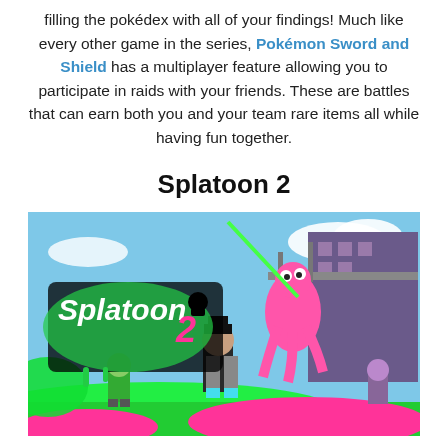filling the pokédex with all of your findings! Much like every other game in the series, Pokémon Sword and Shield has a multiplayer feature allowing you to participate in raids with your friends. These are battles that can earn both you and your team rare items all while having fun together.
Splatoon 2
[Figure (photo): Promotional image for Splatoon 2 video game showing colorful characters (Inklings) with the Splatoon 2 logo on a vibrant stage with green and pink ink splattered around.]